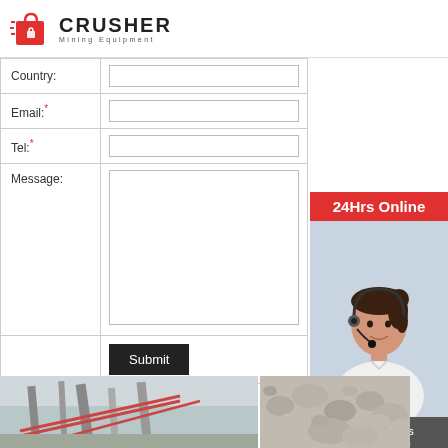[Figure (logo): Crusher Mining Equipment logo with red shopping bag icon and bold CRUSHER text]
| Country: |  |
| Email:* |  |
| Tel:* |  |
| Message: |  |
|  | Submit |
24Hrs Online
[Figure (photo): Customer service representative with headset, smiling woman]
Need questions & suggestion?
Chat Now
Enquiry
mumumugoods@gmail.com
[Figure (photo): Industrial mining/construction equipment - conveyor belts at a quarry or mine site]
[Figure (photo): Crushed stone or gravel aggregate material]